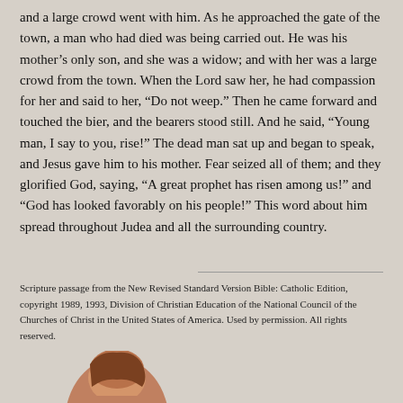and a large crowd went with him. As he approached the gate of the town, a man who had died was being carried out. He was his mother’s only son, and she was a widow; and with her was a large crowd from the town. When the Lord saw her, he had compassion for her and said to her, “Do not weep.” Then he came forward and touched the bier, and the bearers stood still. And he said, “Young man, I say to you, rise!” The dead man sat up and began to speak, and Jesus gave him to his mother. Fear seized all of them; and they glorified God, saying, “A great prophet has risen among us!” and “God has looked favorably on his people!” This word about him spread throughout Judea and all the surrounding country.
Scripture passage from the New Revised Standard Version Bible: Catholic Edition, copyright 1989, 1993, Division of Christian Education of the National Council of the Churches of Christ in the United States of America. Used by permission. All rights reserved.
[Figure (photo): Partial photo of a woman with short brown hair, cropped at bottom of page]